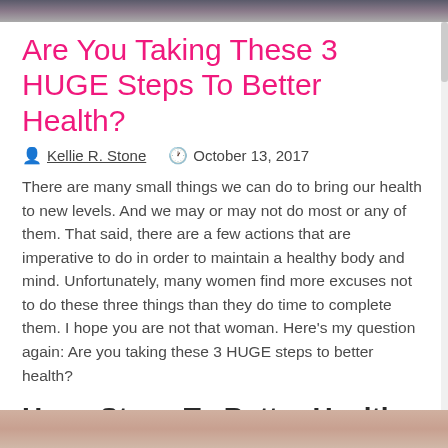[header image strip]
Are You Taking These 3 HUGE Steps To Better Health?
Kellie R. Stone   October 13, 2017
There are many small things we can do to bring our health to new levels. And we may or may not do most or any of them. That said, there are a few actions that are imperative to do in order to maintain a healthy body and mind. Unfortunately, many women find more excuses not to do these three things than they do time to complete them. I hope you are not that woman. Here's my question again: Are you taking these 3 HUGE steps to better health?
Huge Steps To Better Health #1: Regular Exercise
[Figure (photo): Bottom image strip showing a person, partially visible]